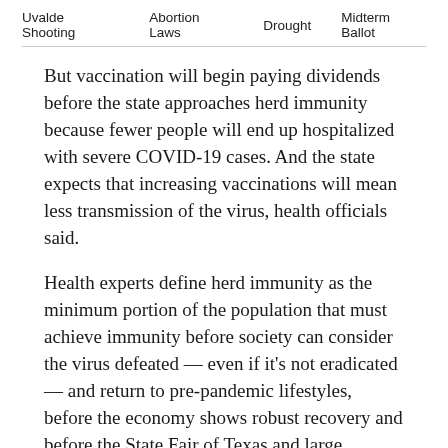Uvalde Shooting   Abortion Laws   Drought   Midterm Ballot
But vaccination will begin paying dividends before the state approaches herd immunity because fewer people will end up hospitalized with severe COVID-19 cases. And the state expects that increasing vaccinations will mean less transmission of the virus, health officials said.
Health experts define herd immunity as the minimum portion of the population that must achieve immunity before society can consider the virus defeated — even if it's not eradicated — and return to pre-pandemic lifestyles, before the economy shows robust recovery and before the State Fair of Texas and large weddings and birthday parties can happen.
In the case of COVID-19, however, even reaching that 70-80% benchmark should be celebrated cautiously